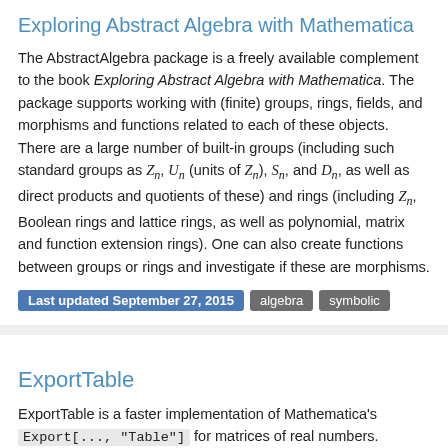Exploring Abstract Algebra with Mathematica
The AbstractAlgebra package is a freely available complement to the book Exploring Abstract Algebra with Mathematica. The package supports working with (finite) groups, rings, fields, and morphisms and functions related to each of these objects. There are a large number of built-in groups (including such standard groups as Z_n, U_n (units of Z_n), S_n, and D_n, as well as direct products and quotients of these) and rings (including Z_n, Boolean rings and lattice rings, as well as polynomial, matrix and function extension rings). One can also create functions between groups or rings and investigate if these are morphisms.
Last updated September 27, 2015 | algebra | symbolic
ExportTable
ExportTable is a faster implementation of Mathematica's Export[..., "Table"] for matrices of real numbers.